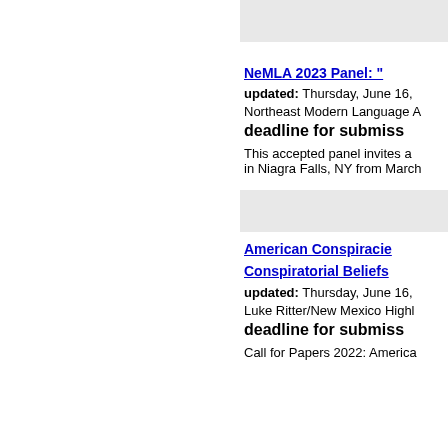NeMLA 2023 Panel: "
updated: Thursday, June 16,
Northeast Modern Language A
deadline for submiss
This accepted panel invites a... in Niagra Falls, NY from March
American Conspiracie
Conspiratorial Beliefs
updated: Thursday, June 16,
Luke Ritter/New Mexico Highl
deadline for submiss
Call for Papers 2022: America